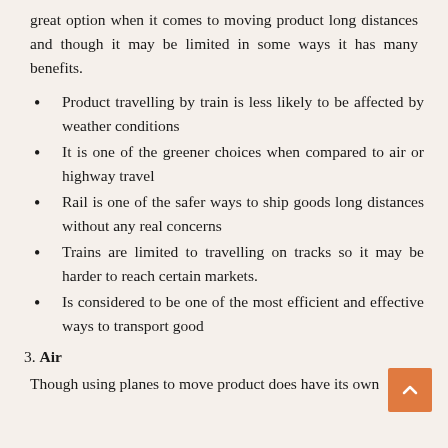great option when it comes to moving product long distances and though it may be limited in some ways it has many benefits.
Product travelling by train is less likely to be affected by weather conditions
It is one of the greener choices when compared to air or highway travel
Rail is one of the safer ways to ship goods long distances without any real concerns
Trains are limited to travelling on tracks so it may be harder to reach certain markets.
Is considered to be one of the most efficient and effective ways to transport good
3. Air
Though using planes to move product does have its own